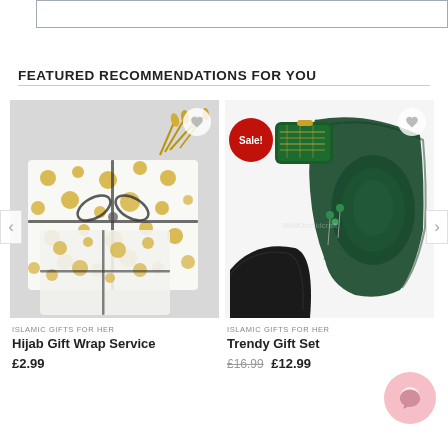[Figure (screenshot): Top search bar / input box with grey border]
FEATURED RECOMMENDATIONS FOR YOU
[Figure (photo): Gift wrapped package with gold polka dot white paper, tied with black and white twine bow, with gold wheat sprigs on grey background]
ISLAMIC GIFTS FOR HER
Hijab Gift Wrap Service
£2.99
[Figure (photo): Dark green hijab scarf, embroidered green clutch purse, small green pearl pins on white background, Sale badge overlay]
ISLAMIC GIFTS FOR HER
Trendy Gift Set
£16.99  £12.99